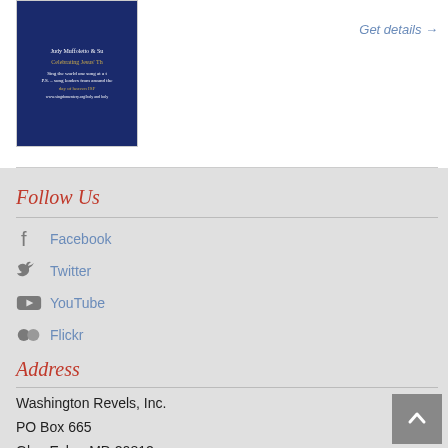[Figure (illustration): Book cover thumbnail with dark blue background and gold/yellow text]
Get details →
Follow Us
Facebook
Twitter
YouTube
Flickr
Address
Washington Revels, Inc.
PO Box 665
Glen Echo, MD 20812
301-587-3835